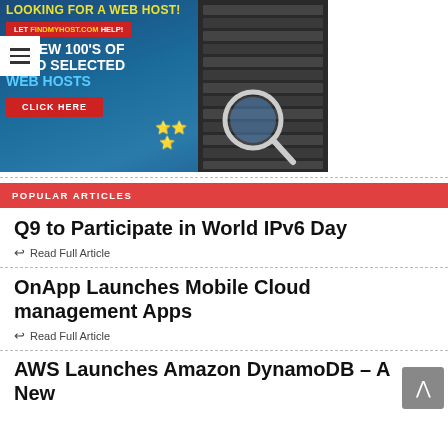[Figure (photo): Advertisement banner for FindMyHost.com web hosting review site. Dark blue background with server rack images. Text reads: LOOKING FOR A WEB HOST! LET FINDMYHOST.COM HELP! REVIEW 100'S OF HAND SELECTED WEB HOSTS. CLICK HERE. Stars decoration.]
POPULAR ARTICLES
Q9 to Participate in World IPv6 Day
Read Full Article
OnApp Launches Mobile Cloud management Apps
Read Full Article
AWS Launches Amazon DynamoDB – A New